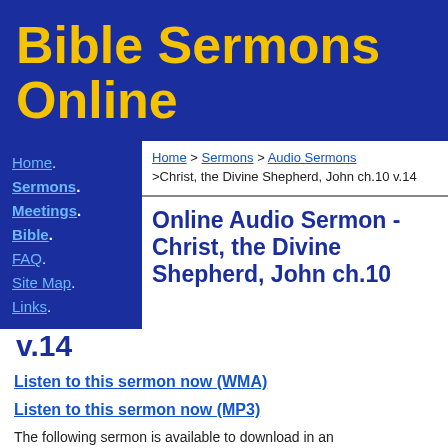Bible Sermons Online
Home.
Sermons.
Meetings.
Bible.
FAQ.
Site Map.
Links.
Home > Sermons > Audio Sermons >Christ, the Divine Shepherd, John ch.10 v.14
Online Audio Sermon - Christ, the Divine Shepherd, John ch.10 v.14
Listen to this sermon now (WMA)
Listen to this sermon now (MP3)
The following sermon is available to download in an